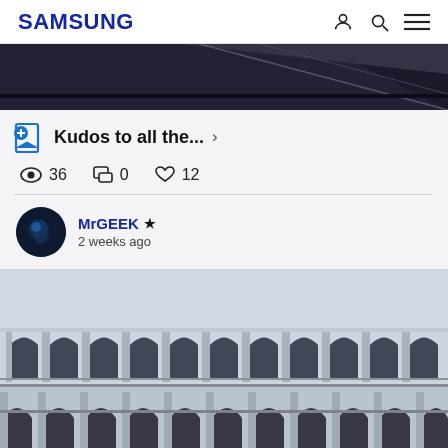SAMSUNG
[Figure (photo): Dark abstract architectural photo showing angular surfaces, top portion of a post card]
Kudos to all the... >
36  0  12
MrGEEK ★
2 weeks ago
[Figure (photo): Photo of a classical building facade with rows of arches and columns, two stories visible]